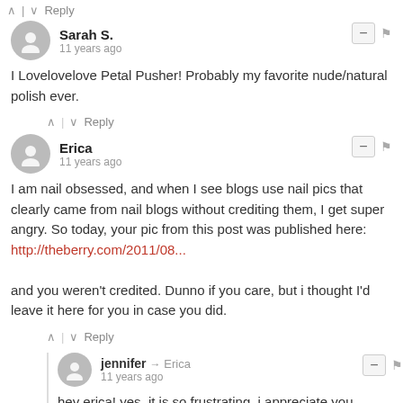^ | v Reply
Sarah S. · 11 years ago
I Lovelovelove Petal Pusher! Probably my favorite nude/natural polish ever.
^ | v Reply
Erica · 11 years ago
I am nail obsessed, and when I see blogs use nail pics that clearly came from nail blogs without crediting them, I get super angry. So today, your pic from this post was published here: http://theberry.com/2011/08...

and you weren't credited. Dunno if you care, but i thought I'd leave it here for you in case you did.
^ | v Reply
jennifer → Erica · 11 years ago
hey erica! yes, it is so frustrating. i appreciate you